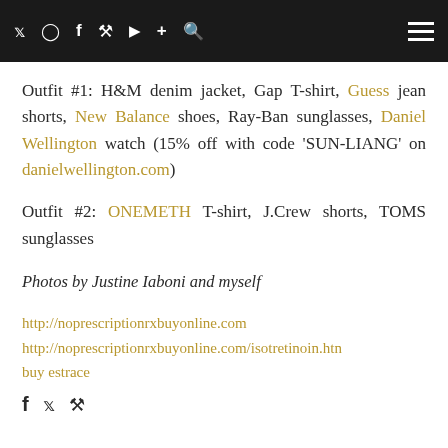Social media navigation bar with icons: Twitter, Instagram, Facebook, Pinterest, YouTube, Plus, Search, and hamburger menu
Outfit #1: H&M denim jacket, Gap T-shirt, Guess jean shorts, New Balance shoes, Ray-Ban sunglasses, Daniel Wellington watch (15% off with code 'SUN-LIANG' on danielwellington.com)
Outfit #2: ONEMETH T-shirt, J.Crew shorts, TOMS sunglasses
Photos by Justine Iaboni and myself
http://noprescriptionrxbuyonline.com
http://noprescriptionrxbuyonline.com/isotretinoin.htm
buy estrace
Social share icons: Facebook, Twitter, Pinterest